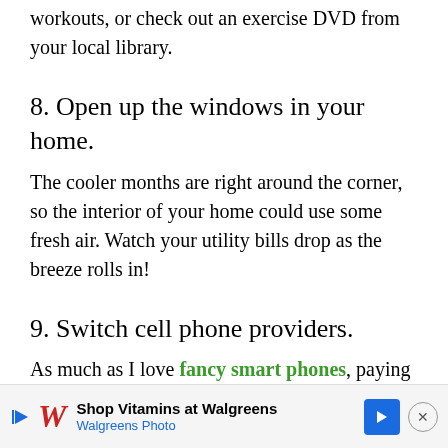workouts, or check out an exercise DVD from your local library.
8. Open up the windows in your home.
The cooler months are right around the corner, so the interior of your home could use some fresh air. Watch your utility bills drop as the breeze rolls in!
9. Switch cell phone providers.
As much as I love fancy smart phones, paying close to $100 each month wasn't working out. So I switched to a provider that offered an all-inclusive plan for only $40.
Shop Vitamins at Walgreens — Walgreens Photo [Advertisement]